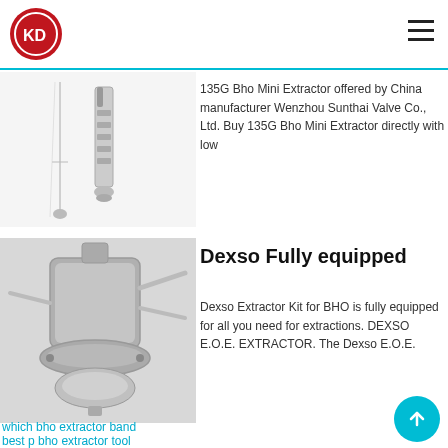[Figure (logo): KD logo — red circle with white KD letters]
[Figure (photo): 135G Bho Mini Extractor product photo — vertical metal extractor tubes on white background]
135G Bho Mini Extractor offered by China manufacturer Wenzhou Sunthai Valve Co., Ltd. Buy 135G Bho Mini Extractor directly with low
[Figure (photo): Dexso fully equipped extractor kit photo — stainless steel extractor with clamps and bowl]
Dexso Fully equipped
Dexso Extractor Kit for BHO is fully equipped for all you need for extractions. DEXSO E.O.E. EXTRACTOR. The Dexso E.O.E.
which bho extractor band
best p bho extractor tool
bho extractor without chemicals
which bho extractor looks